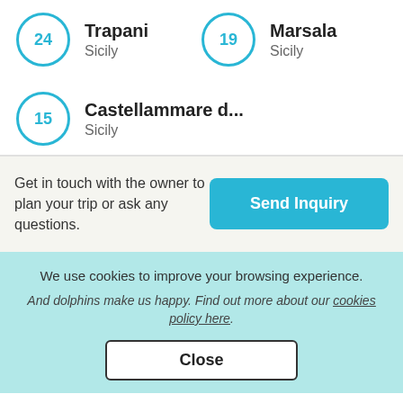24 Trapani, Sicily
19 Marsala, Sicily
15 Castellammare d..., Sicily
Get in touch with the owner to plan your trip or ask any questions.
Send Inquiry
We use cookies to improve your browsing experience.
And dolphins make us happy. Find out more about our cookies policy here.
Close